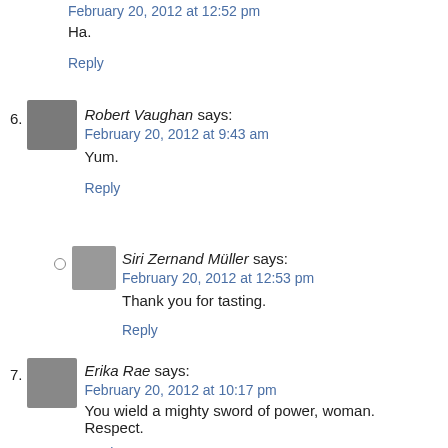February 20, 2012 at 12:52 pm
Ha.
Reply
Robert Vaughan says:
February 20, 2012 at 9:43 am
Yum.
Reply
Siri Zernand Müller says:
February 20, 2012 at 12:53 pm
Thank you for tasting.
Reply
Erika Rae says:
February 20, 2012 at 10:17 pm
You wield a mighty sword of power, woman. Respect.
Reply